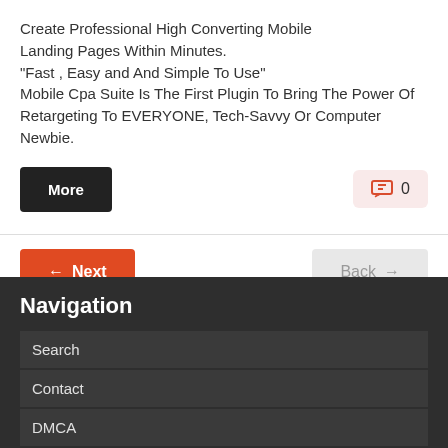Create Professional High Converting Mobile Landing Pages Within Minutes.
"Fast , Easy and And Simple To Use"
Mobile Cpa Suite Is The First Plugin To Bring The Power Of Retargeting To EVERYONE, Tech-Savvy Or Computer Newbie.
More
0
← Next
Back →
Navigation
Search
Contact
DMCA